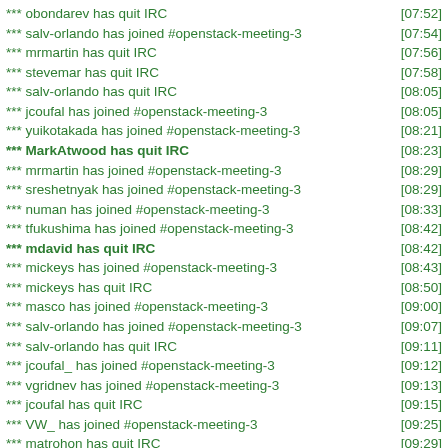*** obondarev has quit IRC [07:52]
*** salv-orlando has joined #openstack-meeting-3 [07:54]
*** mrmartin has quit IRC [07:56]
*** stevemar has quit IRC [07:58]
*** salv-orlando has quit IRC [08:05]
*** jcoufal has joined #openstack-meeting-3 [08:05]
*** yuikotakada has joined #openstack-meeting-3 [08:21]
*** MarkAtwood has quit IRC [08:23]
*** mrmartin has joined #openstack-meeting-3 [08:29]
*** sreshetnyak has joined #openstack-meeting-3 [08:29]
*** numan has joined #openstack-meeting-3 [08:33]
*** tfukushima has joined #openstack-meeting-3 [08:42]
*** mdavid has quit IRC [08:42]
*** mickeys has joined #openstack-meeting-3 [08:43]
*** mickeys has quit IRC [08:50]
*** masco has joined #openstack-meeting-3 [09:00]
*** salv-orlando has joined #openstack-meeting-3 [09:07]
*** salv-orlando has quit IRC [09:11]
*** jcoufal_ has joined #openstack-meeting-3 [09:12]
*** vgridnev has joined #openstack-meeting-3 [09:13]
*** jcoufal has quit IRC [09:15]
*** VW_ has joined #openstack-meeting-3 [09:25]
*** matrohon has quit IRC [09:29]